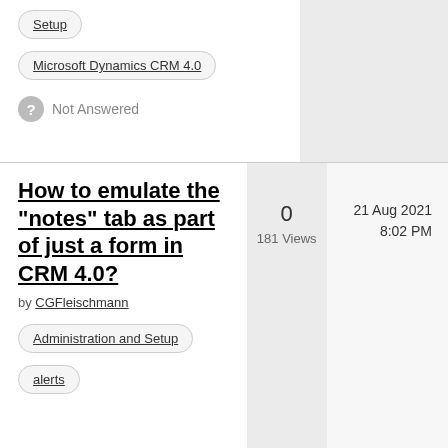Setup
Microsoft Dynamics CRM 4.0
Not Answered
How to emulate the "notes" tab as part of just a form in CRM 4.0?
by CGFleischmann
0
181 Views
21 Aug 2021
8:02 PM
Administration and Setup
alerts